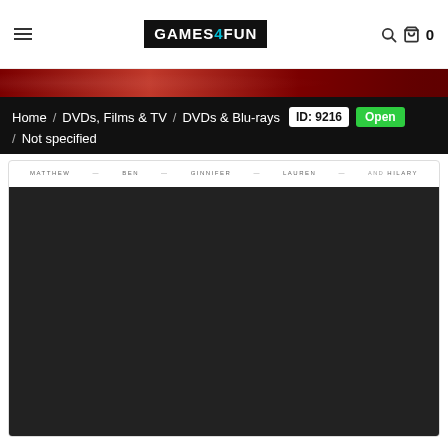Games4Fun logo header with hamburger menu, search and cart icons, cart count 0
[Figure (other): Red decorative banner strip]
Home / DVDs, Films & TV / DVDs & Blu-rays / Not specified   ID: 9216  Open
[Figure (other): Product image area showing names MATTHEW, BEN, GINNIFER, LAUREN, and HILARY at the top of a dark movie cover image]